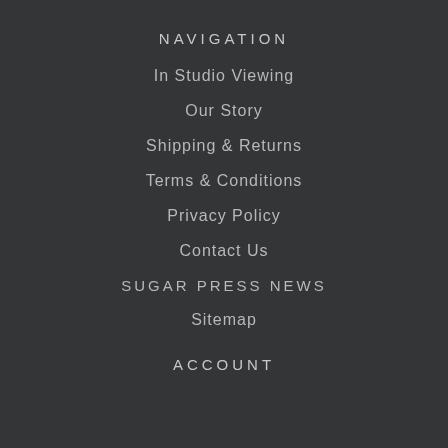NAVIGATION
In Studio Viewing
Our Story
Shipping & Returns
Terms & Conditions
Privacy Policy
Contact Us
SUGAR PRESS NEWS
Sitemap
ACCOUNT